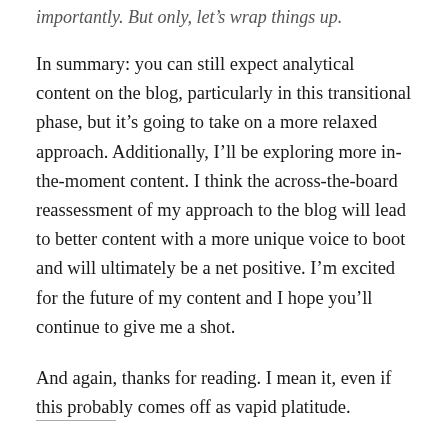importantly. But only, let's wrap things up.
In summary: you can still expect analytical content on the blog, particularly in this transitional phase, but it's going to take on a more relaxed approach. Additionally, I'll be exploring more in-the-moment content. I think the across-the-board reassessment of my approach to the blog will lead to better content with a more unique voice to boot and will ultimately be a net positive. I'm excited for the future of my content and I hope you'll continue to give me a shot.
And again, thanks for reading. I mean it, even if this probably comes off as vapid platitude.